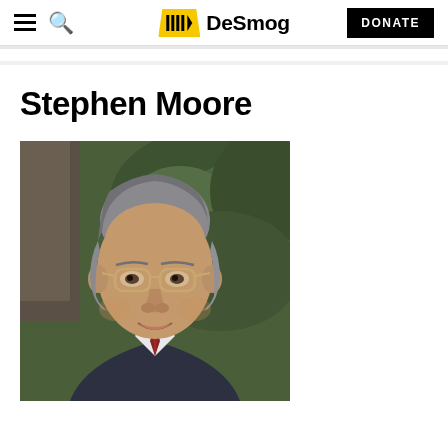DeSmog navigation bar with hamburger menu, search, logo, and DONATE button
Stephen Moore
[Figure (photo): Portrait photo of Stephen Moore, a middle-aged man with gray hair wearing glasses, a dark suit jacket, white dress shirt and red tie, photographed outdoors with green foliage in the background.]